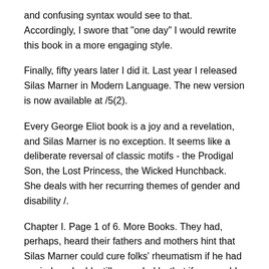and confusing syntax would see to that. Accordingly, I swore that "one day" I would rewrite this book in a more engaging style.
Finally, fifty years later I did it. Last year I released Silas Marner in Modern Language. The new version is now available at /5(2).
Every George Eliot book is a joy and a revelation, and Silas Marner is no exception. It seems like a deliberate reversal of classic motifs - the Prodigal Son, the Lost Princess, the Wicked Hunchback. She deals with her recurring themes of gender and disability /.
Chapter I. Page 1 of 6. More Books. They had, perhaps, heard their fathers and mothers hint that Silas Marner could cure folks' rheumatism if he had a mind, and add, still more darkly, that if you could only speak the devil fair enough, he might save you the cost of the doctor.
Such strange lingering echoes of the old demon-worship might. Silas Marner, a weaver, is an eager and promising young member of a Puritan religious community, Lantern sunplena.com's supposed best